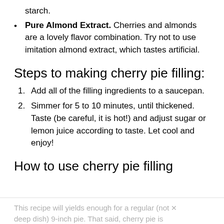starch.
Pure Almond Extract. Cherries and almonds are a lovely flavor combination. Try not to use imitation almond extract, which tastes artificial.
Steps to making cherry pie filling:
Add all of the filling ingredients to a saucepan.
Simmer for 5 to 10 minutes, until thickened. Taste (be careful, it is hot!) and adjust sugar or lemon juice according to taste. Let cool and enjoy!
How to use cherry pie filling
This recipe will yields enough for a regular (not deep dish) 9-inch pie. That said, cherry pie is